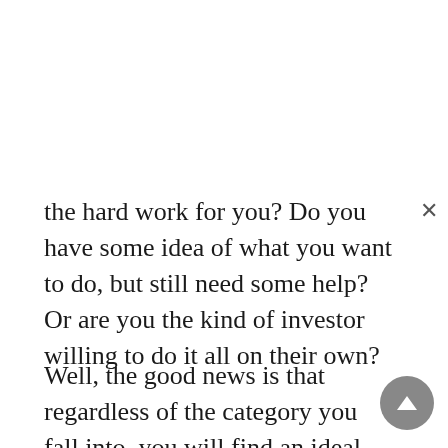the hard work for you? Do you have some idea of what you want to do, but still need some help? Or are you the kind of investor willing to do it all on their own?
Well, the good news is that regardless of the category you fall into, you will find an ideal the right investment account to work with. For example, if you are super-confused and would feel better having someone else doing all the work for you, then your investment account options include Wealthify, Vanguard, and Nutmeg. Out of these